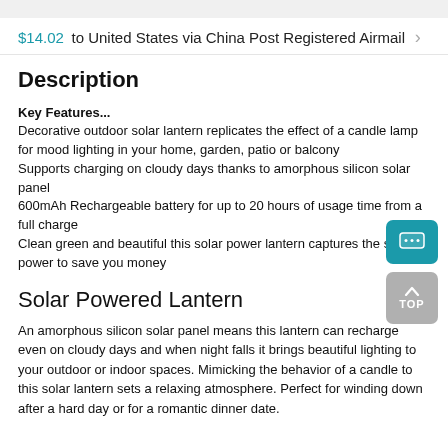$14.02 to United States via China Post Registered Airmail >
Description
Key Features...
Decorative outdoor solar lantern replicates the effect of a candle lamp for mood lighting in your home, garden, patio or balcony
Supports charging on cloudy days thanks to amorphous silicon solar panel
600mAh Rechargeable battery for up to 20 hours of usage time from a full charge
Clean green and beautiful this solar power lantern captures the suns power to save you money
Solar Powered Lantern
An amorphous silicon solar panel means this lantern can recharge even on cloudy days and when night falls it brings beautiful lighting to your outdoor or indoor spaces. Mimicking the behavior of a candle to this solar lantern sets a relaxing atmosphere. Perfect for winding down after a hard day or for a romantic dinner date.